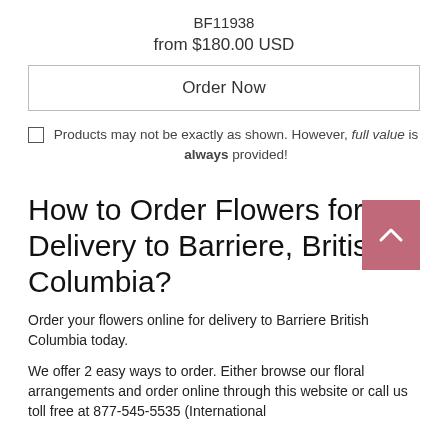BF11938
from $180.00 USD
Order Now
Products may not be exactly as shown. However, full value is always provided!
How to Order Flowers for Delivery to Barriere, British Columbia?
Order your flowers online for delivery to Barriere British Columbia today.
We offer 2 easy ways to order. Either browse our floral arrangements and order online through this website or call us toll free at 877-545-5535 (International